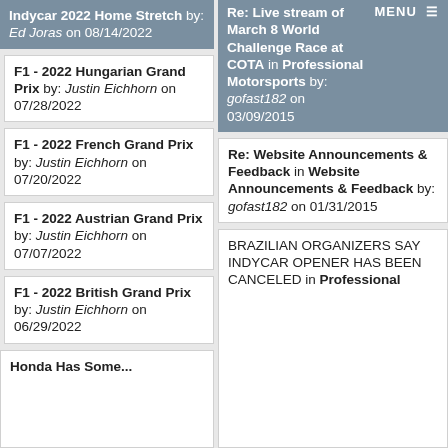Indycar 2022 Home Stretch by: Ed Joras on 08/14/2022
Re: Live stream of March 8 World Challenge Race at COTA in Professional Motorsports by: gofast182 on 03/09/2015
F1 - 2022 Hungarian Grand Prix by: Justin Eichhorn on 07/28/2022
F1 - 2022 French Grand Prix by: Justin Eichhorn on 07/20/2022
Re: Website Announcements & Feedback in Website Announcements & Feedback by: gofast182 on 01/31/2015
F1 - 2022 Austrian Grand Prix by: Justin Eichhorn on 07/07/2022
F1 - 2022 British Grand Prix by: Justin Eichhorn on 06/29/2022
BRAZILIAN ORGANIZERS SAY INDYCAR OPENER HAS BEEN CANCELED in Professional
Honda Has Some...